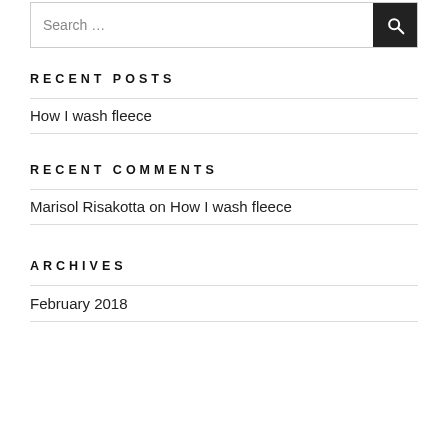Search …
RECENT POSTS
How I wash fleece
RECENT COMMENTS
Marisol Risakotta on How I wash fleece
ARCHIVES
February 2018